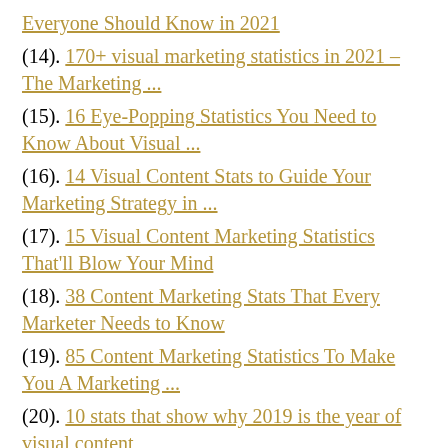Everyone Should Know in 2021
(14). 170+ visual marketing statistics in 2021 – The Marketing ...
(15). 16 Eye-Popping Statistics You Need to Know About Visual ...
(16). 14 Visual Content Stats to Guide Your Marketing Strategy in ...
(17). 15 Visual Content Marketing Statistics That'll Blow Your Mind
(18). 38 Content Marketing Stats That Every Marketer Needs to Know
(19). 85 Content Marketing Statistics To Make You A Marketing ...
(20). 10 stats that show why 2019 is the year of visual content